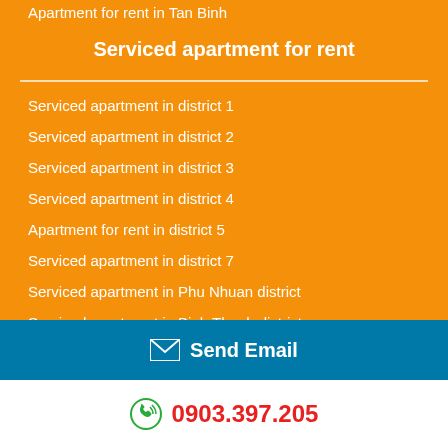Apartment for rent in Tan Binh
Serviced apartment for rent
Serviced apartment in district 1
Serviced apartment in district 2
Serviced apartment in district 3
Serviced apartment in district 4
Apartment for rent in district 5
Serviced apartment in district 7
Serviced apartment in Phu Nhuan district
Serviced apartment in Binh Thanh district
Apartment for in Tan Binh district
Send Email
0903.397.205